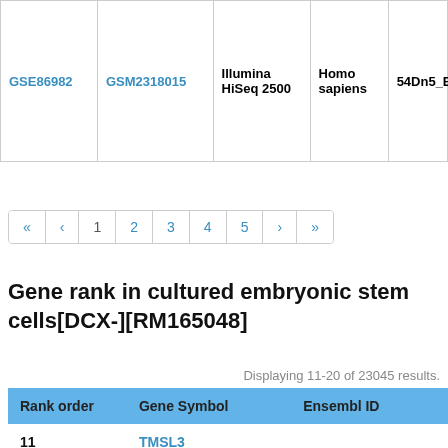|  |  | Illumina HiSeq 2500 | Homo sapiens | 54Dn5_B01_seq |
| --- | --- | --- | --- | --- |
| GSE86982 | GSM2318015 | Illumina HiSeq 2500 | Homo sapiens | 54Dn5_B01_seq |
« ‹ 1 2 3 4 5 › »
Gene rank in cultured embryonic stem cells[DCX-][RM165048]
Displaying 11-20 of 23045 results.
| Rank order | Gene Symbol | Ensembl ID |
| --- | --- | --- |
| 11 | TMSL3 |  |
| 12 | OK/SW-cl.16 |  |
| 13 | RPL7 | ENSG00000147604 |
| 14 | ACTG1 | ENSG00000184009 |